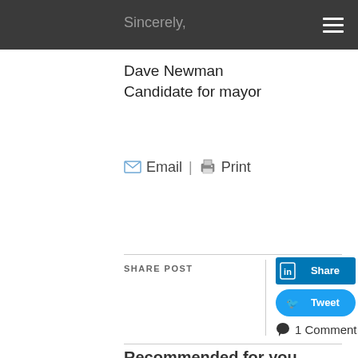Sincerely,
Dave Newman
Candidate for mayor
Email | Print
SHARE POST
[Figure (screenshot): LinkedIn Share button (blue rectangle with 'in' icon and 'Share' text)]
[Figure (screenshot): Twitter Tweet button (blue rounded rectangle with bird icon and 'Tweet' text)]
1 Comment
Recommended for you
[Figure (logo): Two blue M-shaped logos side by side at the bottom]